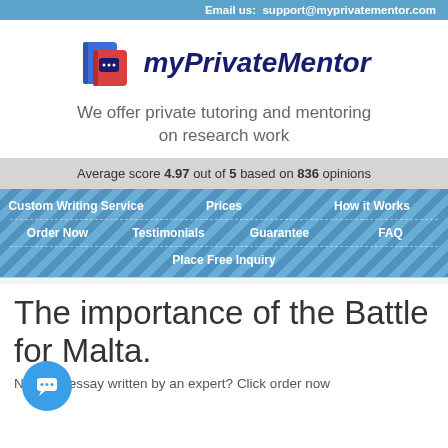Email us:  support@myprivatementor.com
[Figure (logo): myPrivateMentor logo with two overlapping book icons (blue and red) and italic bold text 'myPrivateMentor']
We offer private tutoring and mentoring on research work
Average score 4.97 out of 5 based on 836 opinions
Custom Writing Service
Prices
How it Works
Order Now
Testimonials
Guarantee
FAQ
Place Free Inquiry
The importance of the Battle for Malta.
Need an essay written by an expert? Click order now